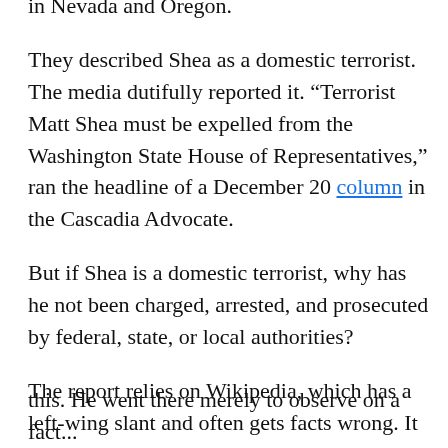in Nevada and Oregon.
They described Shea as a domestic terrorist. The media dutifully reported it. “Terrorist Matt Shea must be expelled from the Washington State House of Representatives,” ran the headline of a December 20 column in the Cascadia Advocate.
But if Shea is a domestic terrorist, why has he not been charged, arrested, and prosecuted by federal, state, or local authorities?
The report relies on Wikipedia, which has a left-wing slant and often gets facts wrong. It cites anonymous witnesses. The report contains no evidence that Shea “planned” or “led covert strategic pre-planning…
this. He went there merely to observe on a fact...